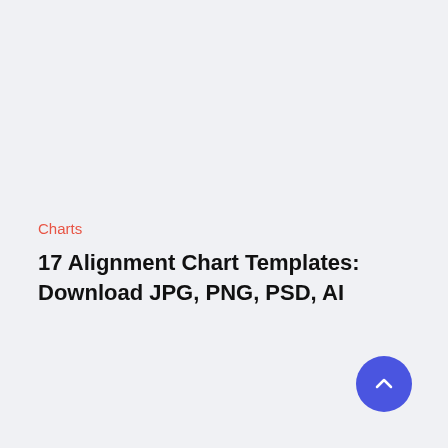Charts
17 Alignment Chart Templates: Download JPG, PNG, PSD, AI
[Figure (other): Round blue scroll-to-top button with a white upward chevron arrow]